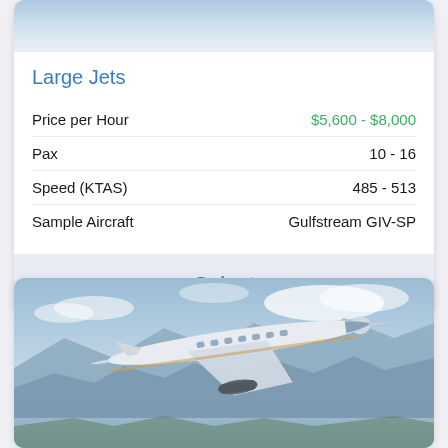[Figure (photo): Cropped top portion of a private jet in flight over clouds and mountains — sky background visible]
Large Jets
|  |  |
| --- | --- |
| Price per Hour | $5,600 - $8,000 |
| Pax | 10 - 16 |
| Speed (KTAS) | 485 - 513 |
| Sample Aircraft | Gulfstream GIV-SP |
Select
[Figure (photo): Private jet (Gulfstream-style) flying over mountainous coastal landscape with clouds and blue sky]